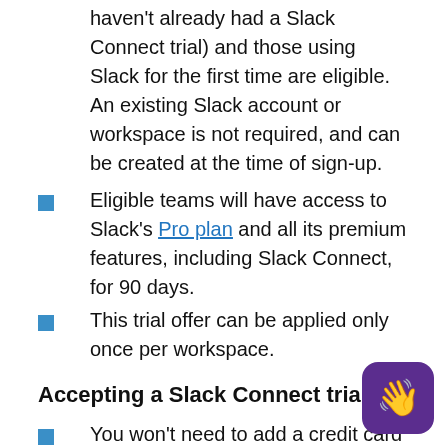Teams using the free version of Slack (who haven't already had a Slack Connect trial) and those using Slack for the first time are eligible. An existing Slack account or workspace is not required, and can be created at the time of sign-up.
Eligible teams will have access to Slack's Pro plan and all its premium features, including Slack Connect, for 90 days.
This trial offer can be applied only once per workspace.
Accepting a Slack Connect trial
You won't need to add a credit card to accept the trial offer.
You can upgrade your workspace at any time during the trial. If the trial ends and you choose not to upgrade, your